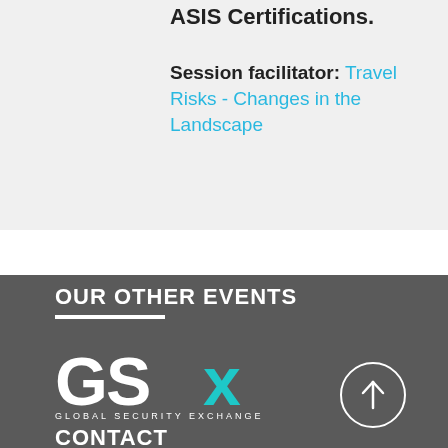ASIS Certifications.
Session facilitator: Travel Risks - Changes in the Landscape
OUR OTHER EVENTS
[Figure (logo): GSX Global Security Exchange logo with teal X on dark background]
CONTACT